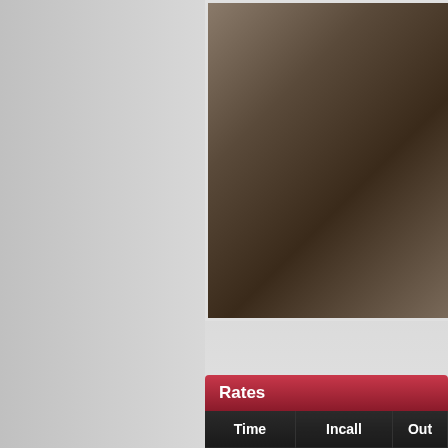[Figure (photo): Partial photo of a person on a white shaggy rug/bed, cropped showing lower body and dark hair, wearing a bracelet]
| Time | Incall | Outc... |
| --- | --- | --- |
| 1 Hour | 70 EUR | 12... |
| 2 Hours | 170 EUR | X... |
| 3 Hours | 270 EUR | 19... |